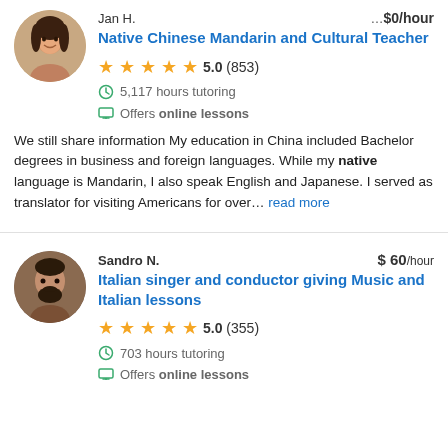[Figure (photo): Circular avatar photo of Jan H., a woman with long dark hair smiling]
Jan H.
Native Chinese Mandarin and Cultural Teacher
5.0 (853)
5,117 hours tutoring
Offers online lessons
We still share information My education in China included Bachelor degrees in business and foreign languages. While my native language is Mandarin, I also speak English and Japanese. I served as translator for visiting Americans for over… read more
[Figure (photo): Circular avatar photo of Sandro N., a man with dark hair and beard]
Sandro N.
$ 60/hour
Italian singer and conductor giving Music and Italian lessons
5.0 (355)
703 hours tutoring
Offers online lessons